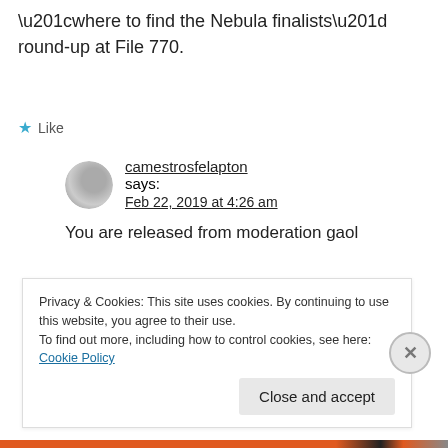“where to find the Nebula finalists” round-up at File 770.
★ Like
camestrosfelapton says: Feb 22, 2019 at 4:26 am
You are released from moderation gaol
★ Like
michaeleochaidh says: Feb 22, 2019 at 10:25 am
Privacy & Cookies: This site uses cookies. By continuing to use this website, you agree to their use.
To find out more, including how to control cookies, see here: Cookie Policy